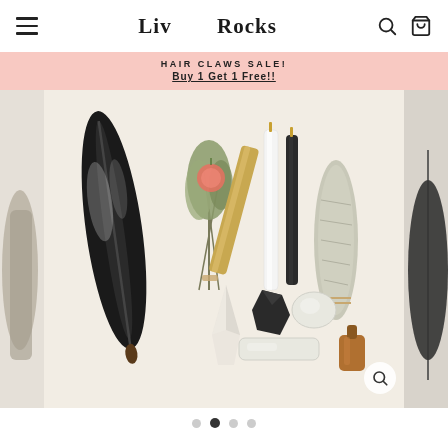Liv Rocks — navigation bar with hamburger menu, logo, search and cart icons
HAIR CLAWS SALE! Buy 1 Get 1 Free!!
[Figure (photo): Flat lay product photo on cream background showing: a large black feather, a dried herb bouquet with a small flower, white taper candles, a palo santo stick, a black taper candle, a white sage smudge bundle, small crystals (clear quartz point, black tourmaline, selenite disc, selenite bar), and a small amber glass bottle of essential oil.]
Image carousel dot indicators: 4 dots, second dot is active.